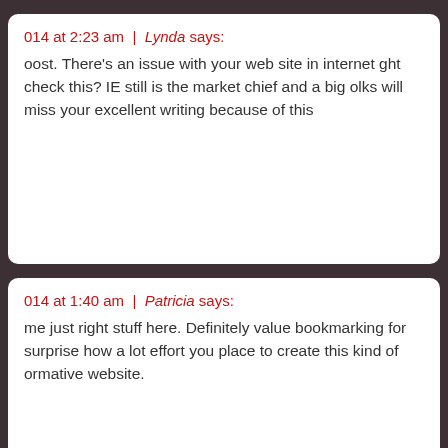014 at 2:23 am | Lynda says:
oost. There's an issue with your web site in internet ght check this? IE still is the market chief and a big olks will miss your excellent writing because of this
014 at 1:40 am | Patricia says:
me just right stuff here. Definitely value bookmarking for surprise how a lot effort you place to create this kind of ormative website.